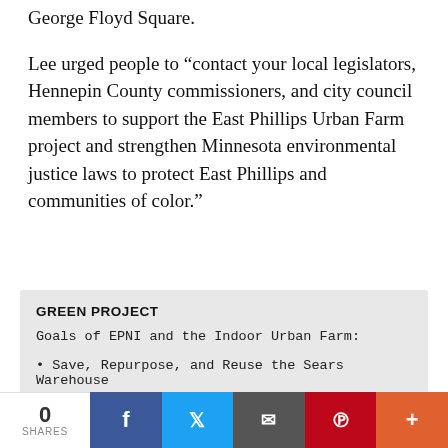George Floyd Square.
Lee urged people to “contact your local legislators, Hennepin County commissioners, and city council members to support the East Phillips Urban Farm project and strengthen Minnesota environmental justice laws to protect East Phillips and communities of color.”
GREEN PROJECT
Goals of EPNI and the Indoor Urban Farm:
• Save, Repurpose, and Reuse the Sears Warehouse
• Create Green, Living-wage Jobs for the community
0 SHARES | Facebook | Twitter | Email | Pinterest | More